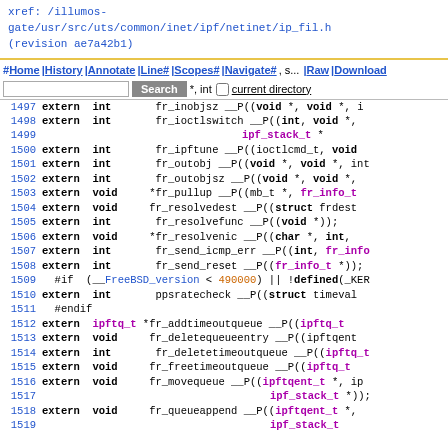xref: /illumos-gate/usr/src/uts/common/inet/ipf/netinet/ip_fil.h (revision ae7a42b1)
Navigation bar with Home, History, Annotate, Line#, Scopes#, Navigate#, Raw, Download, Search, and current directory checkbox
Source code lines 1495-1519 showing extern function declarations in C header file ip_fil.h